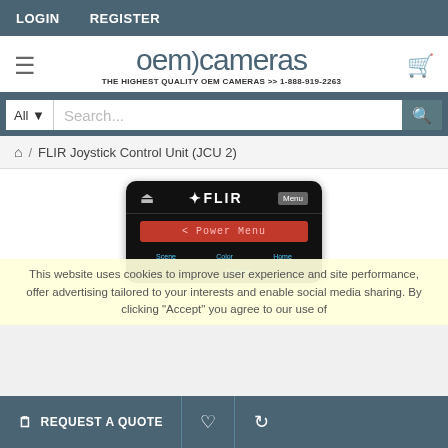LOGIN   REGISTER
[Figure (logo): OEM Cameras logo with tagline: THE HIGHEST QUALITY OEM CAMERAS >> 1-888-919-2263]
Search...
⌂ / FLIR Joystick Control Unit (JCU 2)
[Figure (photo): FLIR Joystick Control Unit (JCU 2) device with black housing, power button, FLIR logo, Menu button, red Power Menu display screen, and Scene/Color/Home/Camera buttons at bottom]
This website uses cookies to improve user experience and site performance, offer advertising tailored to your interests and enable social media sharing. By clicking "Accept" you agree to our use of
REQUEST A QUOTE